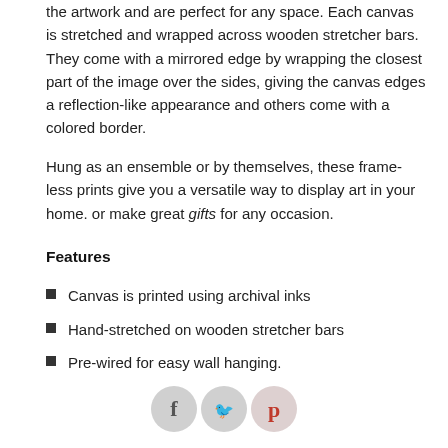the artwork and are perfect for any space. Each canvas is stretched and wrapped across wooden stretcher bars. They come with a mirrored edge by wrapping the closest part of the image over the sides, giving the canvas edges a reflection-like appearance and others come with a colored border.
Hung as an ensemble or by themselves, these frameless prints give you a versatile way to display art in your home. or make great gifts for any occasion.
Features
Canvas is printed using archival inks
Hand-stretched on wooden stretcher bars
Pre-wired for easy wall hanging.
[Figure (infographic): Three social media icon circles: Facebook (f), Twitter (bird), Pinterest (p in red)]